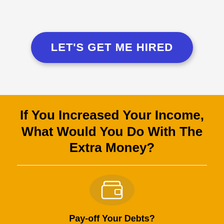[Figure (other): Blue rounded rectangle button with white bold text reading LET'S GET ME HIRED on a light gray background]
If You Increased Your Income, What Would You Do With The Extra Money?
[Figure (illustration): White wallet icon inside a semi-transparent golden circle on orange background]
Pay-off Your Debts?